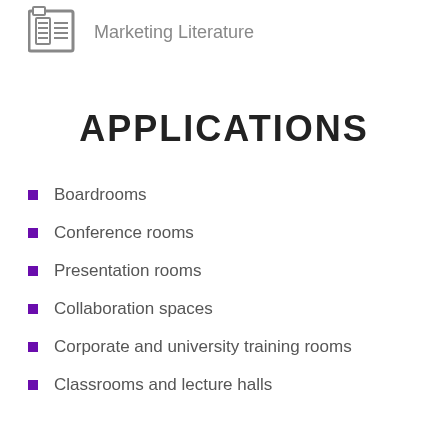[Figure (illustration): Newspaper/document icon in gray]
Marketing Literature
APPLICATIONS
Boardrooms
Conference rooms
Presentation rooms
Collaboration spaces
Corporate and university training rooms
Classrooms and lecture halls